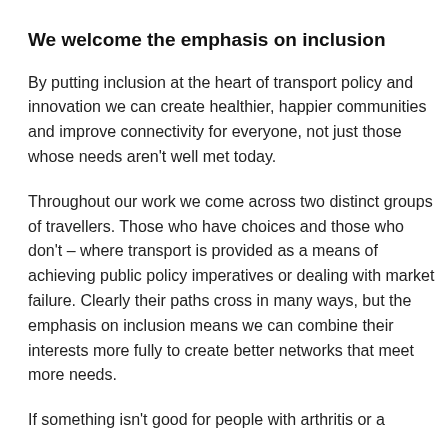We welcome the emphasis on inclusion
By putting inclusion at the heart of transport policy and innovation we can create healthier, happier communities and improve connectivity for everyone, not just those whose needs aren't well met today.
Throughout our work we come across two distinct groups of travellers. Those who have choices and those who don't – where transport is provided as a means of achieving public policy imperatives or dealing with market failure. Clearly their paths cross in many ways, but the emphasis on inclusion means we can combine their interests more fully to create better networks that meet more needs.
If something isn't good for people with arthritis or a